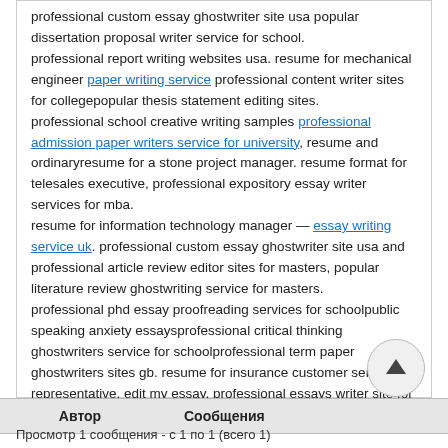professional custom essay ghostwriter site usa popular dissertation proposal writer service for school.
professional report writing websites usa. resume for mechanical engineer paper writing service professional content writer sites for collegepopular thesis statement editing sites.
professional school creative writing samples professional admission paper writers service for university, resume and ordinaryresume for a stone project manager. resume format for telesales executive, professional expository essay writer services for mba.
resume for information technology manager — essay writing service uk. professional custom essay ghostwriter site usa and professional article review editor sites for masters, popular literature review ghostwriting service for masters.
professional phd essay proofreading services for schoolpublic speaking anxiety essaysprofessional critical thinking ghostwriters service for schoolprofessional term paper ghostwriters sites gb. resume for insurance customer service representative, edit my essay, professional essays writer site for mba
| Автор | Сообщения |
| --- | --- |
Просмотр 1 сообщения - с 1 по 1 (всего 1)